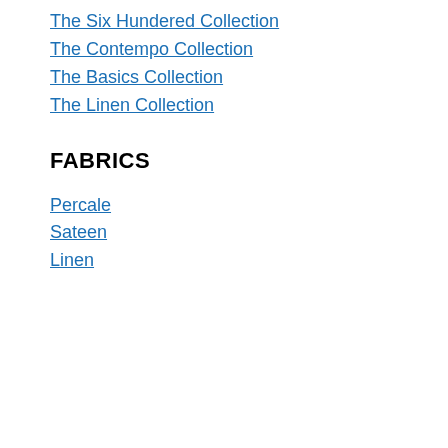The Six Hundered Collection
The Contempo Collection
The Basics Collection
The Linen Collection
FABRICS
Percale
Sateen
Linen